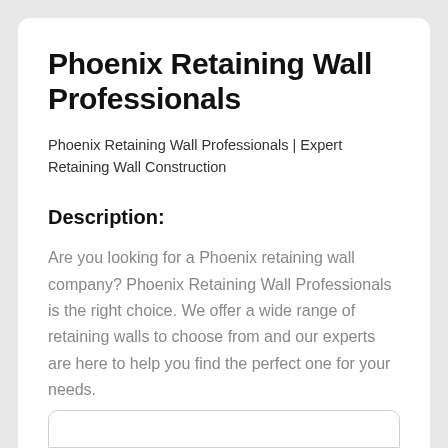Phoenix Retaining Wall Professionals
Phoenix Retaining Wall Professionals | Expert Retaining Wall Construction
Description:
Are you looking for a Phoenix retaining wall company? Phoenix Retaining Wall Professionals is the right choice. We offer a wide range of retaining walls to choose from and our experts are here to help you find the perfect one for your needs.